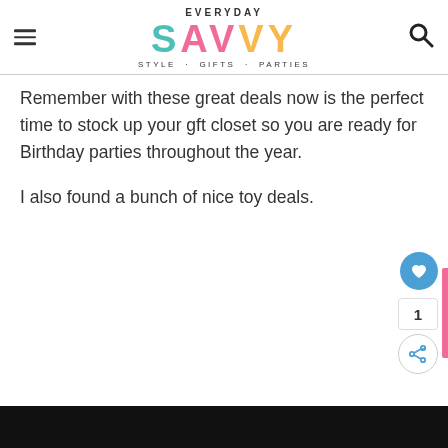EVERYDAY SAVVY STYLE · GIFTS · PARTIES
Remember with these great deals now is the perfect time to stock up your gft closet so you are ready for Birthday parties throughout the year.
I also found a bunch of nice toy deals.